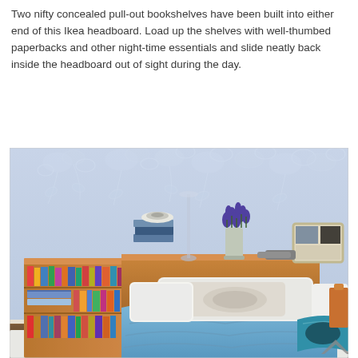Two nifty concealed pull-out bookshelves have been built into either end of this Ikea headboard. Load up the shelves with well-thumbed paperbacks and other night-time essentials and slide neatly back inside the headboard out of sight during the day.
[Figure (photo): Bedroom with a wooden Ikea headboard that has built-in pull-out bookshelves on either end, filled with paperbacks. The bed has white and grey pillows and a blue bedspread. The wall behind features a light blue floral/rose pattern wallpaper. On top of the headboard are books, a vase with purple flowers, a lamp, and a photo frame.]